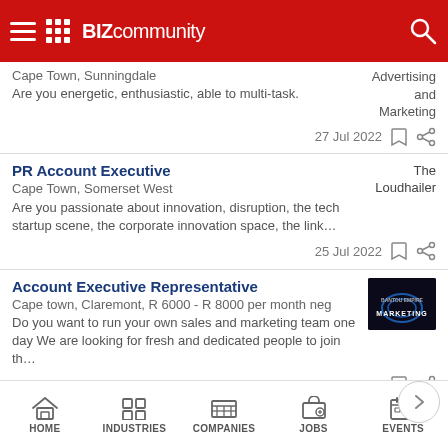Bizcommunity
Cape Town, Sunningdale
Are you energetic, enthusiastic, able to multi-task.
27 Jul 2022
Advertising and Marketing
PR Account Executive
Cape Town, Somerset West
Are you passionate about innovation, disruption, the tech startup scene, the corporate innovation space, the link...
25 Jul 2022
The Loudhailer
Account Executive Representative
Cape town, Claremont, R 6000 - R 8000 per month neg
Do you want to run your own sales and marketing team one day We are looking for fresh and dedicated people to join th...
11 Jul 2022
Senior Account Executive
HOME | INDUSTRIES | COMPANIES | JOBS | EVENTS